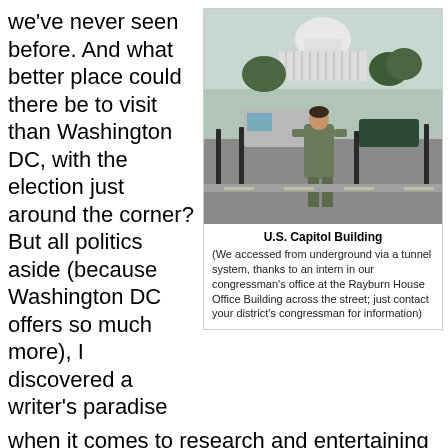we've never seen before. And what better place could there be to visit than Washington DC, with the election just around the corner? But all politics aside (because Washington DC offers so much more), I discovered a writer's paradise when it comes to research and entertaining new ideas. Virtually all of the museums (with the exception of a few private ones) are free and exceptional in quality.
[Figure (photo): Woman standing in front of the U.S. Capitol Building, with trees and vehicles visible on the street.]
U.S. Capitol Building
(We accessed from underground via a tunnel system, thanks to an intern in our congressman's office at the Rayburn House Office Building across the street; just contact your district's congressman for information)